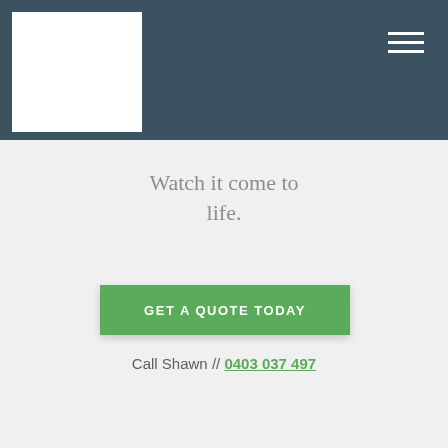[Figure (logo): White square logo placeholder on dark teal/slate header background]
Watch it come to life.
GET A QUOTE TODAY
Call Shawn // 0403 037 497